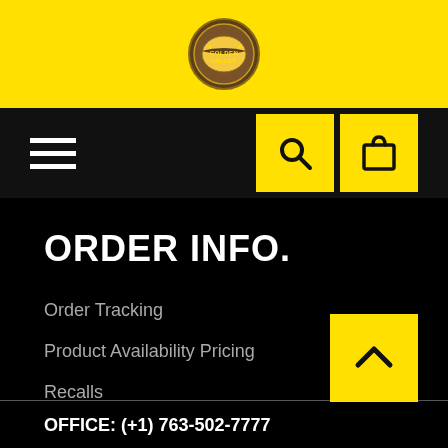[Figure (logo): Golden Valley circular logo on yellow header bar]
[Figure (infographic): Navigation bar with hamburger menu icon on left and yellow search and shopping bag icon buttons on right]
ORDER INFO.
Order Tracking
Product Availability Pricing
Recalls
Returns & Warranties
Shipping
OFFICE: (+1) 763-502-7777